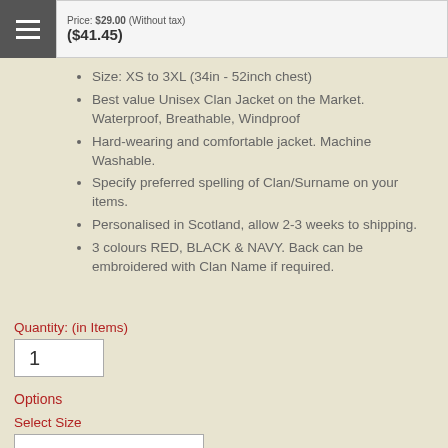Price: $29.00 (Without tax) ($41.45)
Size: XS to 3XL (34in - 52inch chest)
Best value Unisex Clan Jacket on the Market. Waterproof, Breathable, Windproof
Hard-wearing and comfortable jacket. Machine Washable.
Specify preferred spelling of Clan/Surname on your items.
Personalised in Scotland, allow 2-3 weeks to shipping.
3 colours RED, BLACK & NAVY. Back can be embroidered with Clan Name if required.
Quantity: (in Items)
Options
Select Size
Select Colo...